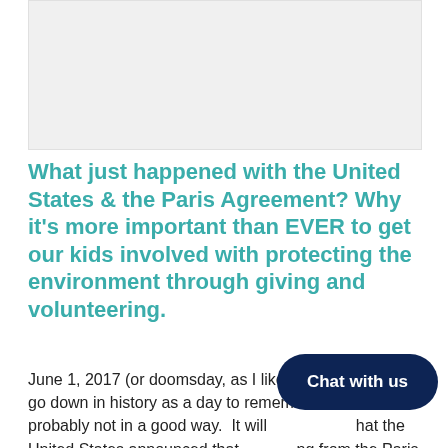[Figure (photo): Image placeholder area at top of page, light gray background]
What just happened with the United States & the Paris Agreement? Why it’s more important than EVER to get our kids involved with protecting the environment through giving and volunteering.
June 1, 2017 (or doomsday, as I like to refer to it) will go down in history as a day to remember…but probably not in a good way.  It will [Chat with us overlay] that the United States announced that [withdrawing] from the Paris Agreement, and as you can see- one of